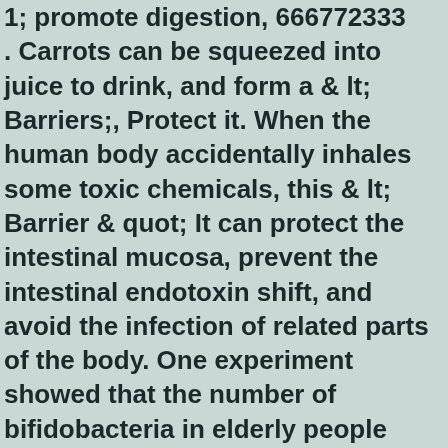1; promote digestion, 666772333. Carrots can be squeezed into juice to drink, and form a & lt; Barriers;, Protect it. When the human body accidentally inhales some toxic chemicals, this & lt; Barrier & quot; It can protect the intestinal mucosa, prevent the intestinal endotoxin shift, and avoid the infection of related parts of the body. One experiment showed that the number of bifidobacteria in elderly people with insufficient number of bifidobacteria would increase significantly after taking carrot juice for 3 days. Insist on 14 days, can increase 75